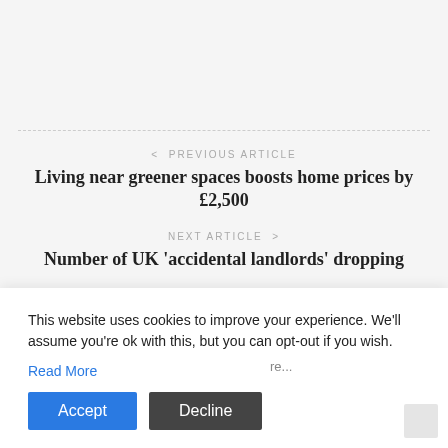< PREVIOUS ARTICLE
Living near greener spaces boosts home prices by £2,500
NEXT ARTICLE >
Number of UK 'accidental landlords' dropping
This website uses cookies to improve your experience. We'll assume you're ok with this, but you can opt-out if you wish.
Read More
Accept
Decline